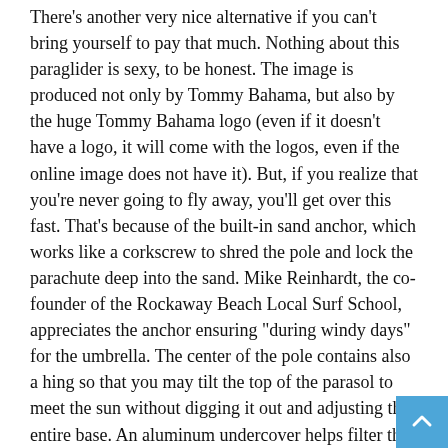There's another very nice alternative if you can't bring yourself to pay that much. Nothing about this paraglider is sexy, to be honest. The image is produced not only by Tommy Bahama, but also by the huge Tommy Bahama logo (even if it doesn't have a logo, it will come with the logos, even if the online image does not have it). But, if you realize that you're never going to fly away, you'll get over this fast. That's because of the built-in sand anchor, which works like a corkscrew to shred the pole and lock the parachute deep into the sand. Mike Reinhardt, the co-founder of the Rockaway Beach Local Surf School, appreciates the anchor ensuring "during windy days" for the umbrella. The center of the pole contains also a hing so that you may tilt the top of the parasol to meet the sun without digging it out and adjusting the entire base. An aluminum undercover helps filter the hazardous rays and keeps you cool. And you will not even have to bother about this ugly branding in certain locations. Everybody at Long Beach Island has one, says Liz Gumbinner of the Cool Mom Picks.